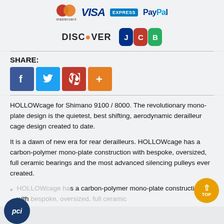[Figure (logo): Payment method logos: Mastercard, Visa, American Express, PayPal, Discover, JCB]
SHARE:
[Figure (infographic): Social share buttons: Facebook (blue), Twitter (light blue), Pinterest (red), Plus/More (orange)]
HOLLOWcage for Shimano 9100 / 8000. The revolutionary mono-plate design is the quietest, best shifting, aerodynamic derailleur cage design created to date.
It is a dawn of new era for rear derailleurs. HOLLOWcage has a carbon-polymer mono-plate construction with bespoke, oversized, full ceramic bearings and the most advanced silencing pulleys ever created.
HOLLOWcage has a carbon-polymer mono-plate construction with bespoke, oversized, full ceramic bearings and the most advanced silencing pulleys ever created.